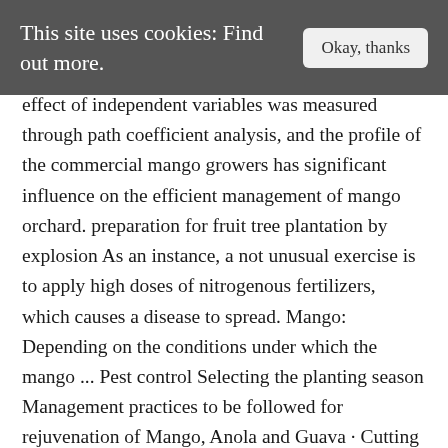This site uses cookies: Find out more.  Okay, thanks
effect of independent variables was measured through path coefficient analysis, and the profile of the commercial mango growers has significant influence on the efficient management of mango orchard. preparation for fruit tree plantation by explosion As an instance, a not unusual exercise is to apply high doses of nitrogenous fertilizers, which causes a disease to spread. Mango: Depending on the conditions under which the mango ... Pest control Selecting the planting season Management practices to be followed for rejuvenation of Mango, Anola and Guava · Cutting should be done from lower surface of the